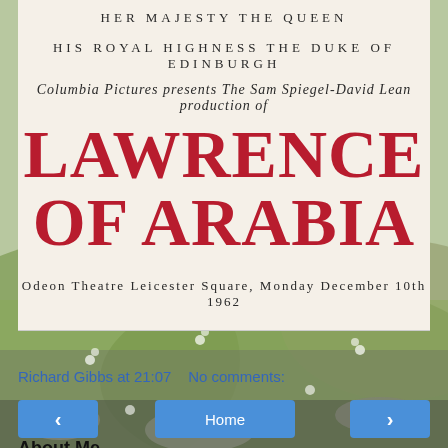[Figure (photo): Background nature landscape with green grassy hills, rocks, and small white flowers or butterflies]
HER MAJESTY THE QUEEN
HIS ROYAL HIGHNESS THE DUKE OF EDINBURGH
Columbia Pictures presents The Sam Spiegel-David Lean production of
LAWRENCE OF ARABIA
Odeon Theatre Leicester Square, Monday December 10th 1962
Richard Gibbs at 21:07   No comments:
Home
About Me